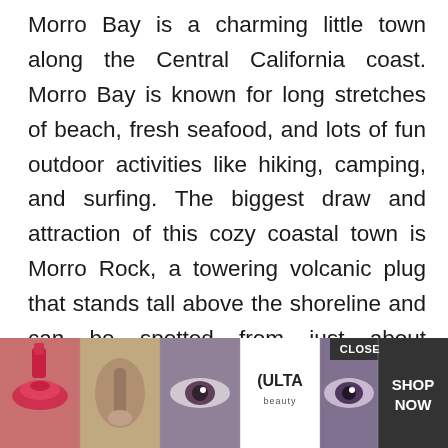Morro Bay is a charming little town along the Central California coast. Morro Bay is known for long stretches of beach, fresh seafood, and lots of fun outdoor activities like hiking, camping, and surfing. The biggest draw and attraction of this cozy coastal town is Morro Rock, a towering volcanic plug that stands tall above the shoreline and can be spotted from just about anywhere in town. With mild coastal weather, plenty of attractions, and a waterfront strip full of inviting restaurants, Morro Bay is one of our favorite California seaside escapes year-round. If you're planning a trip to the Central Coast, here 15 wond...
[Figure (other): ULTA Beauty advertisement banner showing makeup-themed images (lips with lipstick, makeup brush, eye closeups, ULTA logo) with a SHOP NOW button and CLOSE button overlay at bottom of page]